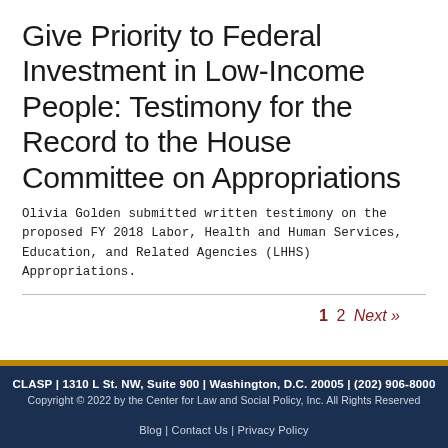Give Priority to Federal Investment in Low-Income People: Testimony for the Record to the House Committee on Appropriations
Olivia Golden submitted written testimony on the proposed FY 2018 Labor, Health and Human Services, Education, and Related Agencies (LHHS) Appropriations.
1  2  Next »
CLASP | 1310 L St. NW, Suite 900 | Washington, D.C. 20005 | (202) 906-8000
Copyright © 2022 by the Center for Law and Social Policy, Inc. All Rights Reserved
Blog | Contact Us | Privacy Policy